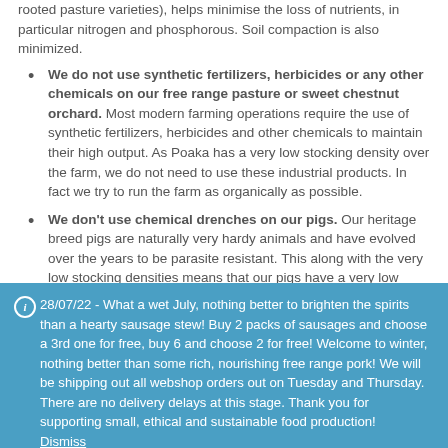rooted pasture varieties), helps minimise the loss of nutrients, in particular nitrogen and phosphorous. Soil compaction is also minimized.
We do not use synthetic fertilizers, herbicides or any other chemicals on our free range pasture or sweet chestnut orchard. Most modern farming operations require the use of synthetic fertilizers, herbicides and other chemicals to maintain their high output. As Poaka has a very low stocking density over the farm, we do not need to use these industrial products. In fact we try to run the farm as organically as possible.
We don't use chemical drenches on our pigs. Our heritage breed pigs are naturally very hardy animals and have evolved over the years to be parasite resistant. This along with the very low stocking densities means that our pigs have a very low parasite burden. We do include organic tonics in the pigs diets to ensure they maintain excellent health.
We have significant tree plantings on the farm. Not only do the trees make the farm look beautiful and animals love...
28/07/22 - What a wet July, nothing better to brighten the spirits than a hearty sausage stew! Buy 2 packs of sausages and choose a 3rd one for free, buy 6 and choose 2 for free! Welcome to winter, nothing better than some rich, nourishing free range pork! We will be shipping out all webshop orders out on Tuesday and Thursday. There are no delivery delays at this stage. Thank you for supporting small, ethical and sustainable food production! Dismiss